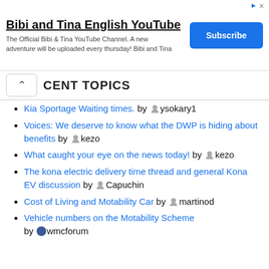[Figure (other): Advertisement banner for Bibi and Tina English YouTube channel with Subscribe button]
CENT TOPICS
Kia Sportage Waiting times. by ysokary1
Voices: We deserve to know what the DWP is hiding about benefits by kezo
What caught your eye on the news today! by kezo
The kona electric delivery time thread and general Kona EV discussion by Capuchin
Cost of Living and Motability Car by martinod
Vehicle numbers on the Motability Scheme by wmcforum